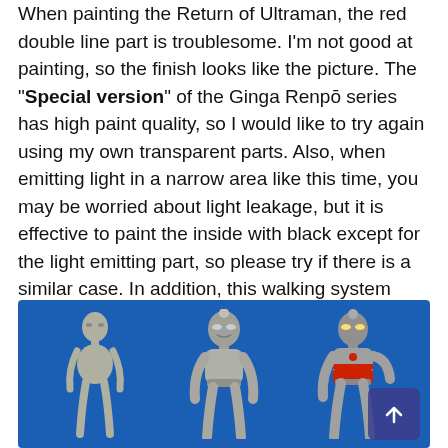When painting the Return of Ultraman, the red double line part is troublesome. I'm not good at painting, so the finish looks like the picture. The "Special version" of the Ginga Renpō series has high paint quality, so I would like to try again using my own transparent parts. Also, when emitting light in a narrow area like this time, you may be worried about light leakage, but it is effective to paint the inside with black except for the light emitting part, so please try if there is a similar case. In addition, this walking system adopts the so-called Imai type, in which pseudo-feet enter and exit from the soles of the feet.
[Figure (photo): Three Ultraman action figures photographed against a blue background. Left: an unpainted silver/grey slim female-style figure. Center: a silver metallic Ultraman figure with detailed face. Right: a painted Ultraman figure with red and silver coloring and glowing eyes. A scroll-to-top arrow button is visible in the lower right corner.]